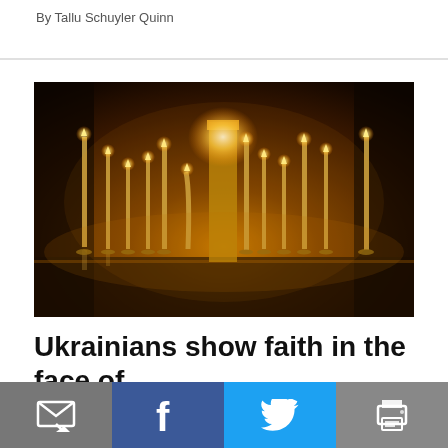By Tallu Schuyler Quinn
[Figure (photo): Photograph of many lit candles on golden candleholders arranged on a reflective surface in a dimly lit church interior, glowing warm amber and gold tones.]
Ukrainians show faith in the face of